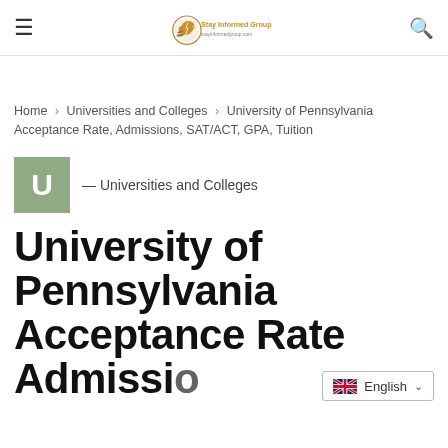Stay Informed Group
Home > Universities and Colleges > University of Pennsylvania Acceptance Rate, Admissions, SAT/ACT, GPA, Tuition
U — Universities and Colleges
University of Pennsylvania Acceptance Rate Admissions